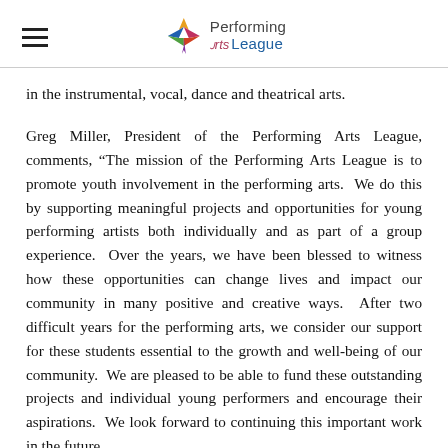Performing Arts League
in the instrumental, vocal, dance and theatrical arts.
Greg Miller, President of the Performing Arts League, comments, “The mission of the Performing Arts League is to promote youth involvement in the performing arts.  We do this by supporting meaningful projects and opportunities for young performing artists both individually and as part of a group experience.  Over the years, we have been blessed to witness how these opportunities can change lives and impact our community in many positive and creative ways.  After two difficult years for the performing arts, we consider our support for these students essential to the growth and well-being of our community.  We are pleased to be able to fund these outstanding projects and individual young performers and encourage their aspirations.  We look forward to continuing this important work in the future